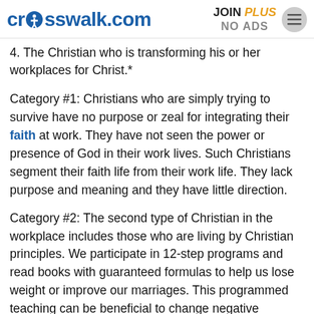crosswalk.com | JOIN PLUS NO ADS
4. The Christian who is transforming his or her workplaces for Christ.*
Category #1: Christians who are simply trying to survive have no purpose or zeal for integrating their faith at work. They have not seen the power or presence of God in their work lives. Such Christians segment their faith life from their work life. They lack purpose and meaning and they have little direction.
Category #2: The second type of Christian in the workplace includes those who are living by Christian principles. We participate in 12-step programs and read books with guaranteed formulas to help us lose weight or improve our marriages. This programmed teaching can be beneficial to change negative patterns in our lives. However, it is important to